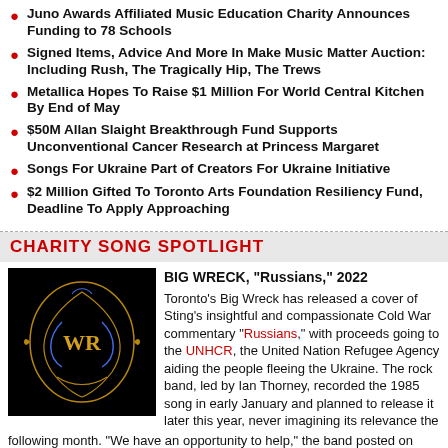Juno Awards Affiliated Music Education Charity Announces Funding to 78 Schools
Signed Items, Advice And More In Make Music Matter Auction: Including Rush, The Tragically Hip, The Trews
Metallica Hopes To Raise $1 Million For World Central Kitchen By End of May
$50M Allan Slaight Breakthrough Fund Supports Unconventional Cancer Research at Princess Margaret
Songs For Ukraine Part of Creators For Ukraine Initiative
$2 Million Gifted To Toronto Arts Foundation Resiliency Fund, Deadline To Apply Approaching
CHARITY SONG SPOTLIGHT
[Figure (photo): Big Wreck band logo — ornate gold and blue emblem on black background]
BIG WRECK, "Russians," 2022
Toronto's Big Wreck has released a cover of Sting's insightful and compassionate Cold War commentary "Russians," with proceeds going to the UNHCR, the United Nation Refugee Agency aiding the people fleeing the Ukraine. The rock band, led by Ian Thorney, recorded the 1985 song in early January and planned to release it later this year, never imagining its relevance the following month. "We have an opportunity to help," the band posted on Facebook. "By downloading, sharing, and donating, you're providing much